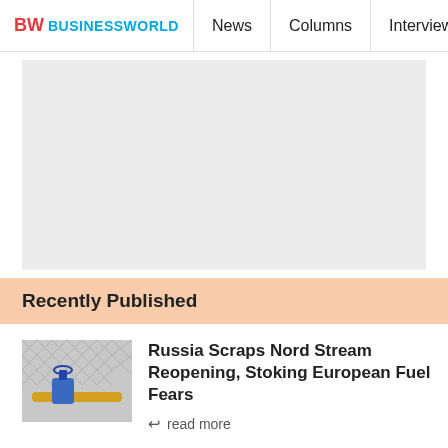BW BUSINESSWORLD | News | Columns | Interviews | BW
[Figure (other): Gray advertisement placeholder box]
Recently Published
[Figure (photo): Photo of industrial gas pipeline valve with chain-link fence in background]
Russia Scraps Nord Stream Reopening, Stoking European Fuel Fears
read more